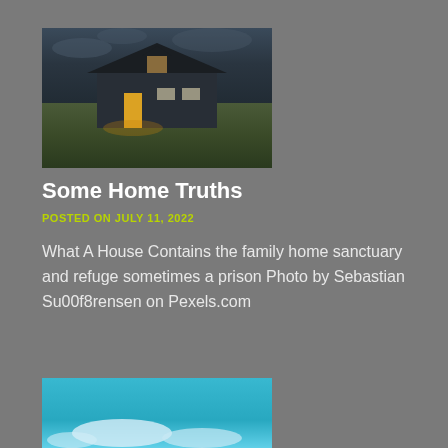[Figure (photo): A house at dusk or night with glowing warm light from windows, situated on a grassy hillside under a dramatic overcast sky]
Some Home Truths
POSTED ON JULY 11, 2022
What A House Contains the family home sanctuary and refuge sometimes a prison Photo by Sebastian Su00f8rensen on Pexels.com
[Figure (photo): A blue sky with clouds, partially visible at the bottom of the page]